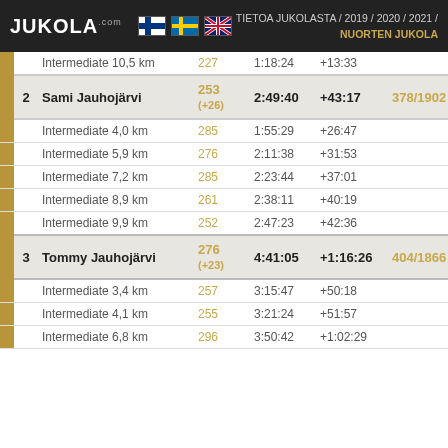JUKOLA.com | TIETOA JUKOLASTA / 2019 / 2020 / 2021 / NUORTEN JUKOLA
|  | # | Name | Rank | Time | Diff | Overall | Last |
| --- | --- | --- | --- | --- | --- | --- | --- |
|  |  | Intermediate 10,5 km | 227 | 1:18:24 | +13:33 |  | 1 |
|  | 2 | Sami Jauhojärvi
(+26) | 253 | 2:49:40 | +43:17 | 378/1902 | 1 |
|  |  | Intermediate 4,0 km | 285 | 1:55:29 | +26:47 |  |  |
|  |  | Intermediate 5,9 km | 276 | 2:11:38 | +31:53 |  |  |
|  |  | Intermediate 7,2 km | 285 | 2:23:44 | +37:01 |  | 1 |
|  |  | Intermediate 8,9 km | 261 | 2:38:11 | +40:19 |  | 1 |
|  |  | Intermediate 9,9 km | 252 | 2:47:23 | +42:36 |  | 1 |
|  | 3 | Tommy Jauhojärvi
(+23) | 276 | 4:41:05 | +1:16:26 | 404/1866 | 1 |
|  |  | Intermediate 3,4 km | 257 | 3:15:47 | +50:18 |  |  |
|  |  | Intermediate 4,1 km | 255 | 3:21:24 | +51:57 |  |  |
|  |  | Intermediate 6,8 km | 296 | 3:50:42 | +1:02:29 |  | 1 |